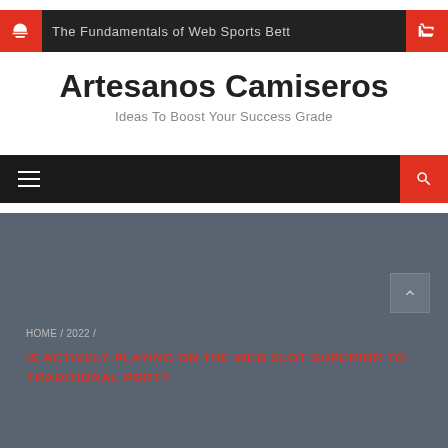The Fundamentals of Web Sports Bett
Artesanos Camiseros
Ideas To Boost Your Success Grade
HOME / 2022 / IS ACTIVELY PLAYING ON THE WEB SLOT SUPERIOR TO TRADITIONAL PORT?